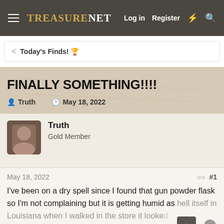TreasureNet — Log in  Register
< Today's Finds! 🏆
FINALLY SOMETHING!!!!
Truth · May 18, 2022
Truth
Gold Member
May 18, 2022    #1
I've been on a dry spell since I found that gun powder flask so I'm not complaining but it is getting humid as hell itself in Louisiana when I walked in the store it looked like a urinated all over myself oh well, I got silver plate